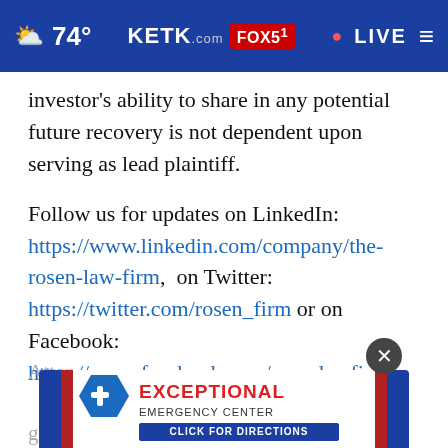[Figure (screenshot): KETK.com FOX51 website navigation bar with weather (74°), LIVE indicator, and hamburger menu on blue background]
investor's ability to share in any potential future recovery is not dependent upon serving as lead plaintiff.
Follow us for updates on LinkedIn: https://www.linkedin.com/company/the-rosen-law-firm, on Twitter: https://twitter.com/rosen_firm or on Facebook: https://www.facebook.com/rosenlawfirm/.
Atto[rney advertising. Prior results do] not guara[ntee a similar outcome.]
[Figure (illustration): Exceptional Emergency Center advertisement banner with logo and CLICK FOR DIRECTIONS CTA]